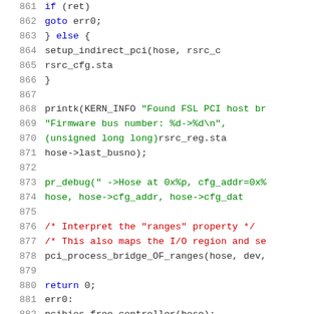[Figure (screenshot): Source code listing showing lines 861-882 of a C kernel driver file with syntax highlighting. Line numbers in gray, keywords in blue, string literals in green, comments in red, regular code in dark gray/black.]